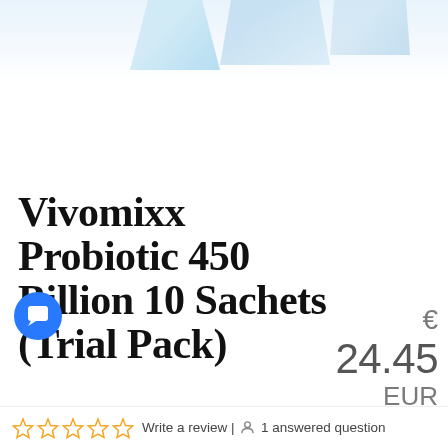[Figure (photo): Partial product image at top of page, showing blue/white packaging shapes against a light blue background]
Vivomixx Probiotic 450 Billion 10 Sachets (Trial Pack)
€ 24.45 EUR
Write a review | 1 answered question